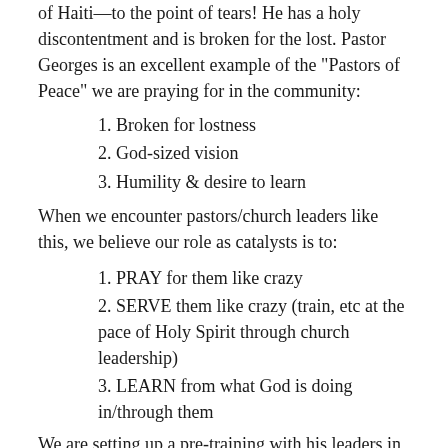of Haiti—to the point of tears! He has a holy discontentment and is broken for the lost. Pastor Georges is an excellent example of the "Pastors of Peace" we are praying for in the community:
Broken for lostness
God-sized vision
Humility & desire to learn
When we encounter pastors/church leaders like this, we believe our role as catalysts is to:
PRAY for them like crazy
SERVE them like crazy (train, etc at the pace of Holy Spirit through church leadership)
LEARN from what God is doing in/through them
We are setting up a pre-training with his leaders in a couple months and then will begin 3-touch training process. Would you please pray for Pastor Georges, Peniel Haitian Baptist Church